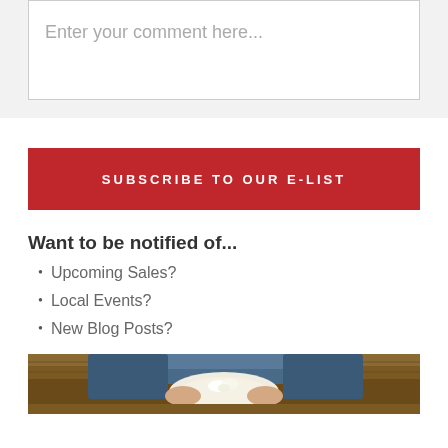Enter your comment here...
SUBSCRIBE TO OUR E-LIST
Want to be notified of...
Upcoming Sales?
Local Events?
New Blog Posts?
[Figure (photo): Photo of hands arranging flowers on a wooden surface, person wearing denim]